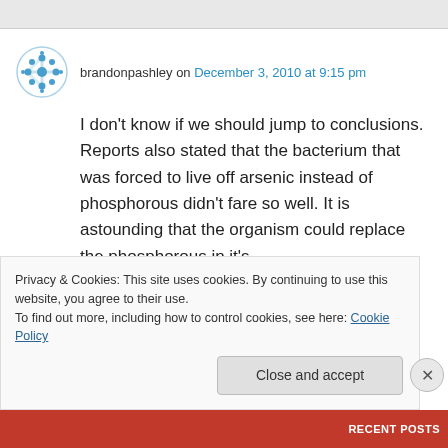brandonpashley on December 3, 2010 at 9:15 pm
I don't know if we should jump to conclusions. Reports also stated that the bacterium that was forced to live off arsenic instead of phosphorous didn't fare so well. It is astounding that the organism could replace the phosphorous in it's
Privacy & Cookies: This site uses cookies. By continuing to use this website, you agree to their use.
To find out more, including how to control cookies, see here: Cookie Policy
Close and accept